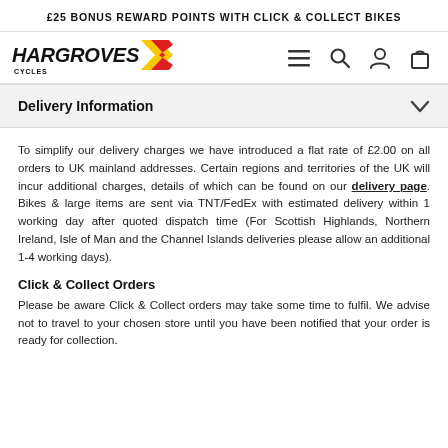£25 BONUS REWARD POINTS WITH CLICK & COLLECT BIKES
[Figure (logo): Hargroves Cycles logo with italic bold text and red/yellow chevron graphic, plus navigation icons (hamburger menu, search, account, cart)]
Delivery Information
To simplify our delivery charges we have introduced a flat rate of £2.00 on all orders to UK mainland addresses. Certain regions and territories of the UK will incur additional charges, details of which can be found on our delivery page. Bikes & large items are sent via TNT/FedEx with estimated delivery within 1 working day after quoted dispatch time (For Scottish Highlands, Northern Ireland, Isle of Man and the Channel Islands deliveries please allow an additional 1-4 working days).
Click & Collect Orders
Please be aware Click & Collect orders may take some time to fulfil. We advise not to travel to your chosen store until you have been notified that your order is ready for collection.